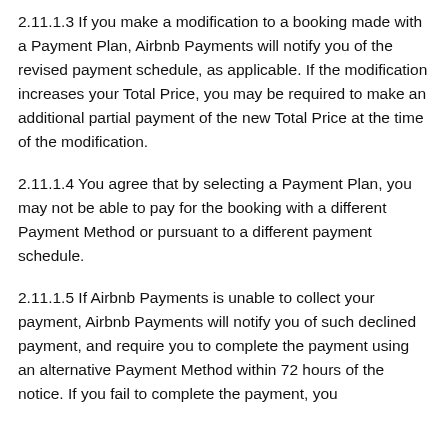2.11.1.3 If you make a modification to a booking made with a Payment Plan, Airbnb Payments will notify you of the revised payment schedule, as applicable. If the modification increases your Total Price, you may be required to make an additional partial payment of the new Total Price at the time of the modification.
2.11.1.4 You agree that by selecting a Payment Plan, you may not be able to pay for the booking with a different Payment Method or pursuant to a different payment schedule.
2.11.1.5 If Airbnb Payments is unable to collect your payment, Airbnb Payments will notify you of such declined payment, and require you to complete the payment using an alternative Payment Method within 72 hours of the notice. If you fail to complete the payment, you